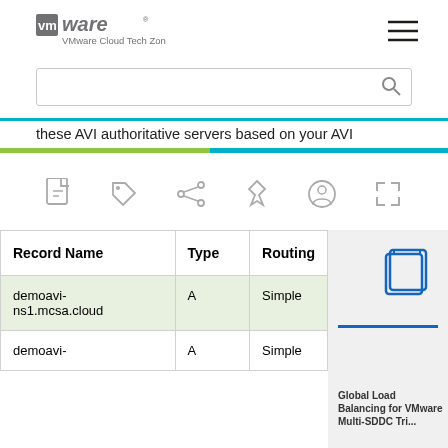VMware Cloud Tech Zone
these AVI authoritative servers based on your AVI
[Figure (other): Toolbar with icons: PDF, tag, share, pin, user, expand]
| Record Name | Type | Routing |
| --- | --- | --- |
| demoavi-ns1.mcsa.cloud | A | Simple |
| demoavi- | A | Simple |
Global Load Balancing for VMware Multi-SDDC Tri...